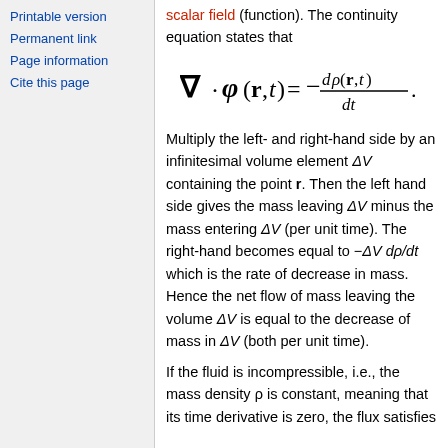Printable version
Permanent link
Page information
Cite this page
scalar field (function). The continuity equation states that
Multiply the left- and right-hand side by an infinitesimal volume element ΔV containing the point r. Then the left hand side gives the mass leaving ΔV minus the mass entering ΔV (per unit time). The right-hand becomes equal to −ΔV dρ/dt which is the rate of decrease in mass. Hence the net flow of mass leaving the volume ΔV is equal to the decrease of mass in ΔV (both per unit time).
If the fluid is incompressible, i.e., the mass density ρ is constant, meaning that its time derivative is zero, the flux satisfies